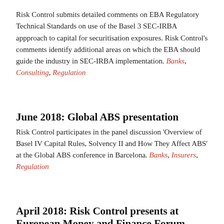Risk Control submits detailed comments on EBA Regulatory Technical Standards on use of the Basel 3 SEC-IRBA appproach to capital for securitisation exposures. Risk Control's comments identify additional areas on which the EBA should guide the industry in SEC-IRBA implementation. Banks, Consulting, Regulation
June 2018: Global ABS presentation
Risk Control participates in the panel discussion 'Overview of Basel IV Capital Rules, Solvency II and How They Affect ABS' at the Global ABS conference in Barcelona. Banks, Insurers, Regulation
April 2018: Risk Control presents at European Money and Finance Forum
Risk Control presents its findings on liquidity in the European